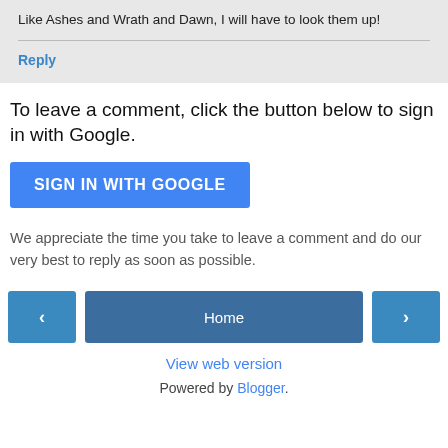Like Ashes and Wrath and Dawn, I will have to look them up!
Reply
To leave a comment, click the button below to sign in with Google.
SIGN IN WITH GOOGLE
We appreciate the time you take to leave a comment and do our very best to reply as soon as possible.
Home
View web version
Powered by Blogger.